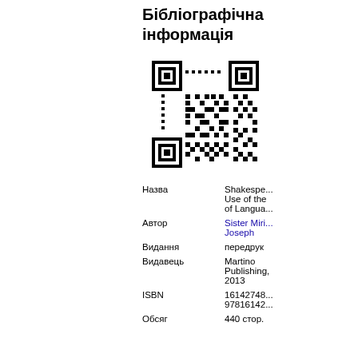Бібліографічна інформація
[Figure (other): QR code image]
| Назва | Shakespeare's Use of the Arts of Language |
| Автор | Sister Miriam Joseph |
| Видання | передрук |
| Видавець | Martino Publishing, 2013 |
| ISBN | 1614274800, 9781614274803 |
| Обсяг | 440 стор. |